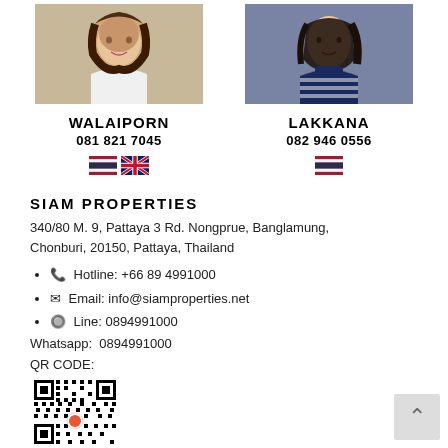[Figure (photo): Headshot photo of Walaiporn, a woman with dark curly hair wearing white, against a colorful background]
[Figure (photo): Headshot photo of Lakkana, a woman with long dark hair wearing a navy striped turtleneck]
WALAIPORN
081 821 7045
LAKKANA
082 946 0556
[Figure (illustration): Thai flag and UK flag icons representing languages spoken by Walaiporn]
[Figure (illustration): Thai flag icon representing language spoken by Lakkana]
SIAM PROPERTIES
340/80 M. 9, Pattaya 3 Rd. Nongprue, Banglamung, Chonburi, 20150, Pattaya, Thailand
📞 Hotline: +66 89 4991000
✉ Email: info@siamproperties.net
Line: 0894991000
Whatsapp: 0894991000
QR CODE:
[Figure (other): QR code for Siam Properties contact with a small logo in center]